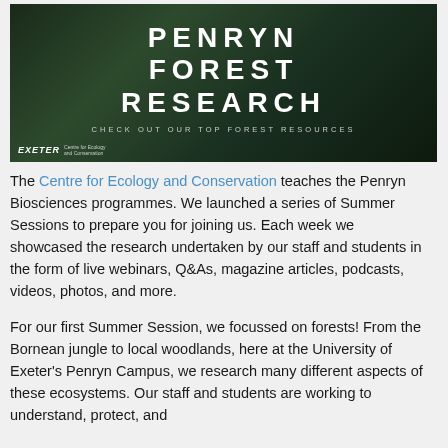[Figure (photo): Banner image with dark forest background showing tall trees, with white bold text reading 'PENRYN FOREST RESEARCH', subtitle 'CHECK OUT OUR TOP FOREST RESOURCES', and University of Exeter Centre for Ecology and Conservation logo in bottom left.]
The Centre for Ecology and Conservation teaches the Penryn Biosciences programmes. We launched a series of Summer Sessions to prepare you for joining us. Each week we showcased the research undertaken by our staff and students in the form of live webinars, Q&As, magazine articles, podcasts, videos, photos, and more.
For our first Summer Session, we focussed on forests! From the Bornean jungle to local woodlands, here at the University of Exeter's Penryn Campus, we research many different aspects of these ecosystems. Our staff and students are working to understand, protect, and